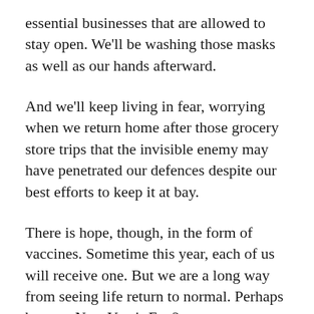essential businesses that are allowed to stay open. We'll be washing those masks as well as our hands afterward.
And we'll keep living in fear, worrying when we return home after those grocery store trips that the invisible enemy may have penetrated our defences despite our best efforts to keep it at bay.
There is hope, though, in the form of vaccines. Sometime this year, each of us will receive one. But we are a long way from seeing life return to normal. Perhaps by next New Year's Eve?
So, I wish you all good health in 2021 and a safe